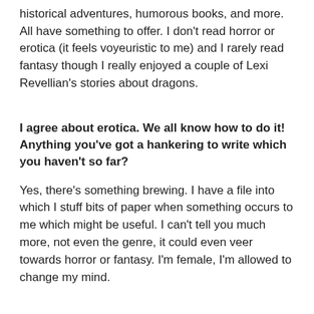historical adventures, humorous books, and more. All have something to offer. I don't read horror or erotica (it feels voyeuristic to me) and I rarely read fantasy though I really enjoyed a couple of Lexi Revellian's stories about dragons.
I agree about erotica. We all know how to do it! Anything you've got a hankering to write which you haven't so far?
Yes, there's something brewing. I have a file into which I stuff bits of paper when something occurs to me which might be useful. I can't tell you much more, not even the genre, it could even veer towards horror or fantasy. I'm female, I'm allowed to change my mind.
Oh, intrigue! Is there any published work of fiction that you wish you'd written – and why?
This is a hard question and if I spent a year or two